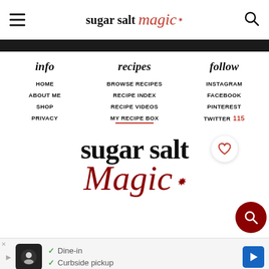sugar salt magic
info
HOME
ABOUT ME
SHOP
PRIVACY
recipes
BROWSE RECIPES
RECIPE INDEX
RECIPE VIDEOS
MY RECIPE BOX
follow
INSTAGRAM
FACEBOOK
PINTEREST
TWITTER 115
[Figure (logo): Sugar Salt Magic logo in large bold serif and cursive red script text]
Dine-in   Curbside pickup